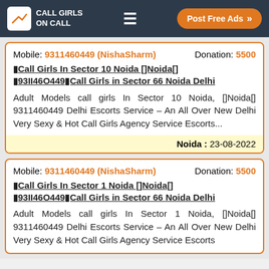CALL GIRLS ON CALL | Post Free Ads
Mobile: 9311460449 (NishaSharm)    Donation: 5500
⬛Call Girls In Sector 10 Noida []Noida[] ⬛93II46O449⬛Call Girls in Sector 66 Noida Delhi
Adult Models call girls In Sector 10 Noida, []Noida[] 9311460449 Delhi Escorts Service – An All Over New Delhi Very Sexy & Hot Call Girls Agency Service Escorts...
Noida :  23-08-2022
Mobile: 9311460449 (NishaSharm)    Donation: 5500
⬛Call Girls In Sector 1 Noida []Noida[] ⬛93II46O449⬛Call Girls in Sector 66 Noida Delhi
Adult Models call girls In Sector 1 Noida, []Noida[] 9311460449 Delhi Escorts Service – An All Over New Delhi Very Sexy & Hot Call Girls Agency Service Escorts